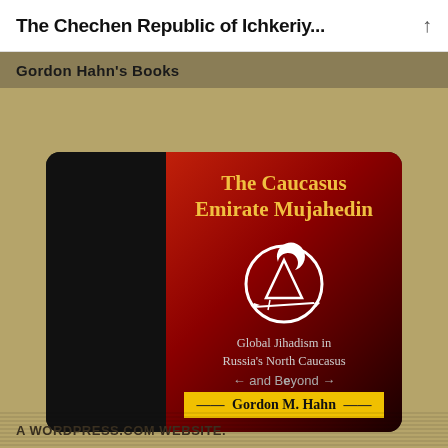The Chechen Republic of Ichkeriy...
Gordon Hahn's Books
[Figure (photo): Book cover of 'The Caucasus Emirate Mujahedin: Global Jihadism in Russia's North Caucasus and Beyond' by Gordon M. Hahn. Dark cover with red background, white crescent moon and mountain emblem, and a decorative sword. Title in yellow, author name on a yellow band.]
A WORDPRESS.COM WEBSITE.